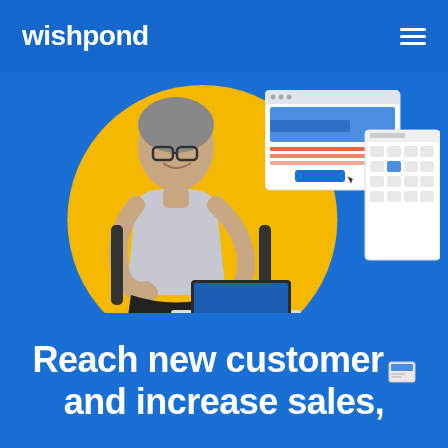wishpond
[Figure (illustration): Hero image of a middle-aged man with glasses sitting at a desk smiling, with a yellow circle background behind him. UI mockup panels (landing page builder interface and widget panel) float to his right. A laptop is visible on the desk. The background is blue.]
Reach new customers and increase sales,